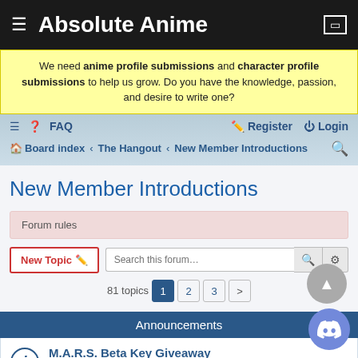Absolute Anime
We need anime profile submissions and character profile submissions to help us grow. Do you have the knowledge, passion, and desire to write one?
FAQ   Register   Login
Board index › The Hangout › New Member Introductions
New Member Introductions
Forum rules
New Topic   Search this forum...   81 topics   1   2   3   >
Announcements
M.A.R.S. Beta Key Giveaway
Last post by piyushbund77 « Aug 10, 2022 2:50am
Posted in Anime News & Press Releases
Replies: 3
Blast from the past: pre-crash forums restored... mosti